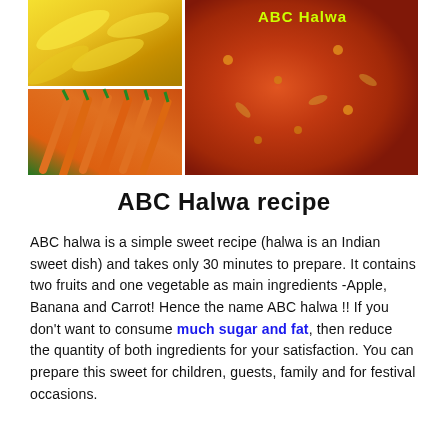[Figure (photo): Collage of bananas (top-left), carrots (bottom-left), and a bowl of ABC Halwa dish (right), with 'ABC Halwa' text label in yellow-green on the right photo.]
ABC Halwa recipe
ABC halwa is a simple sweet recipe (halwa is an Indian sweet dish) and takes only 30 minutes to prepare. It contains two fruits and one vegetable as main ingredients -Apple, Banana and Carrot! Hence the name ABC halwa !! If you don't want to consume much sugar and fat, then reduce the quantity of both ingredients for your satisfaction. You can prepare this sweet for children, guests, family and for festival occasions.
ABC Halwa
Ingredients
1. Apple – 1 cup